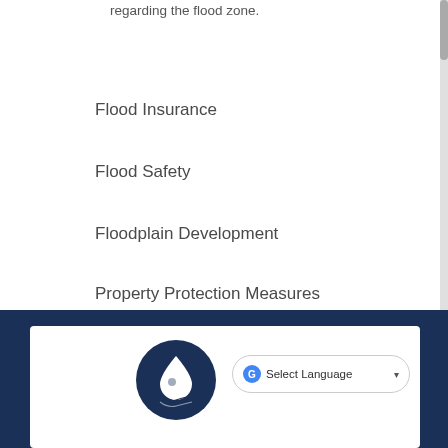regarding the flood zone.
Flood Insurance
Flood Safety
Floodplain Development
Property Protection Measures
[Figure (logo): Water drop icon in a dark navy circle, representing flood/water management]
[Figure (screenshot): Google Translate Select Language dropdown widget]